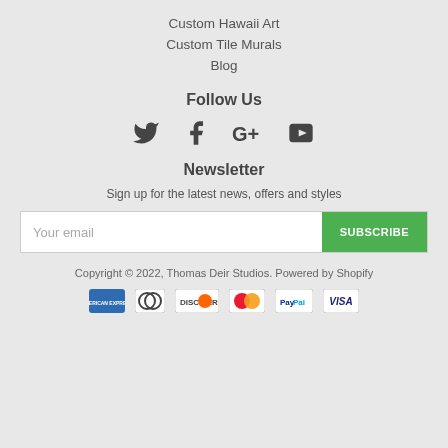Custom Hawaii Art
Custom Tile Murals
Blog
Follow Us
[Figure (infographic): Social media icons: Twitter, Facebook, Google+, YouTube]
Newsletter
Sign up for the latest news, offers and styles
Your email [input field] SUBSCRIBE [button]
Copyright © 2022, Thomas Deir Studios. Powered by Shopify
[Figure (logo): Payment icons: American Express, Diners Club, Discover, MasterCard, PayPal, Visa]